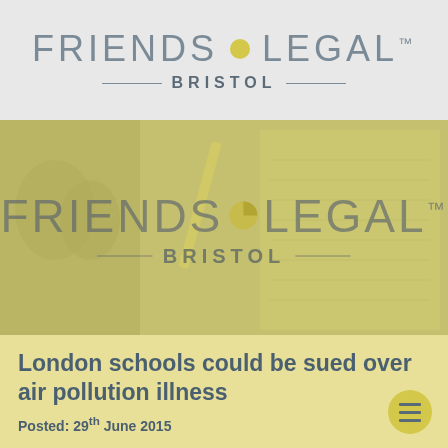[Figure (logo): Friends Legal Bristol logo on grey background header]
[Figure (photo): Banner image with yellow overlay showing medical/legal imagery, with Friends Legal Bristol watermark logo overlaid in centre]
London schools could be sued over air pollution illness
Posted: 29th June 2015